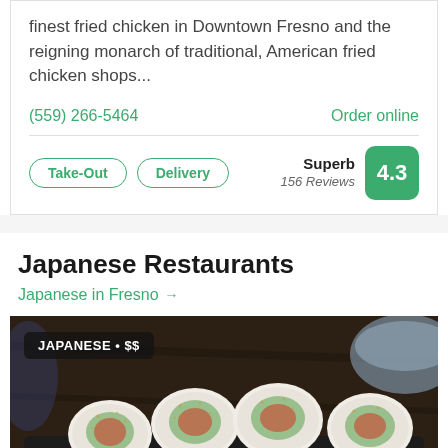finest fried chicken in Downtown Fresno and the reigning monarch of traditional, American fried chicken shops...
(559) 266-5464
Order online
Take-Out
Delivery
Superb 156 Reviews 4.3
Japanese Restaurants
Japanese in Fresno →
[Figure (photo): Photo of sushi rolls (uramaki/inside-out rolls with avocado and crab, topped with seasoning) on a dark slate plate. A label overlay reads 'JAPANESE • $$'.]